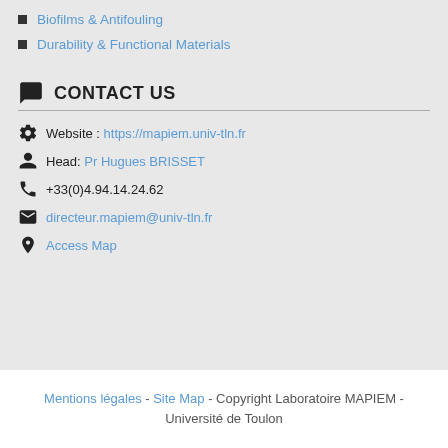Biofilms & Antifouling
Durability & Functional Materials
CONTACT US
Website : https://mapiem.univ-tln.fr
Head: Pr Hugues BRISSET
+33(0)4.94.14.24.62
directeur.mapiem@univ-tln.fr
Access Map
Mentions légales - Site Map - Copyright Laboratoire MAPIEM - Université de Toulon